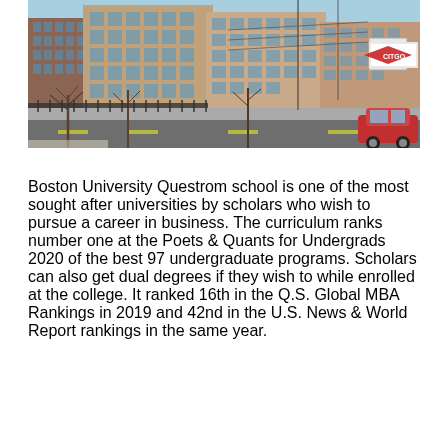[Figure (photo): Exterior street-level photo of Boston University Questrom School of Business buildings. Brick academic buildings visible against a blue sky, with bare winter trees, street traffic, parked cars, power lines, and a Citgo sign visible in the upper right.]
Boston University Questrom school is one of the most sought after universities by scholars who wish to pursue a career in business. The curriculum ranks number one at the Poets & Quants for Undergrads 2020 of the best 97 undergraduate programs. Scholars can also get dual degrees if they wish to while enrolled at the college. It ranked 16th in the Q.S. Global MBA Rankings in 2019 and 42nd in the U.S. News & World Report rankings in the same year.